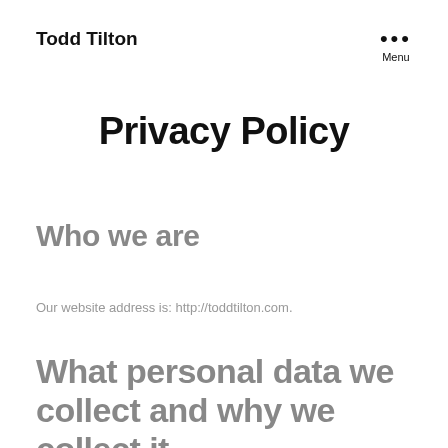Todd Tilton
Privacy Policy
Who we are
Our website address is: http://toddtilton.com.
What personal data we collect and why we collect it